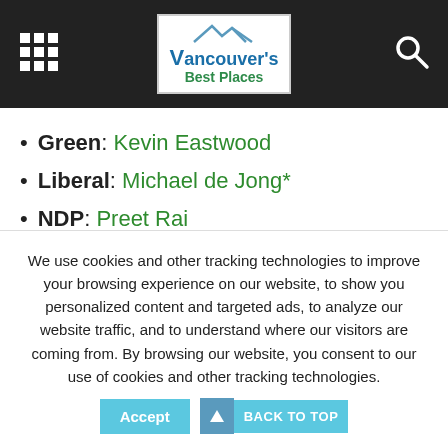Vancouver's Best Places
Green: Kevin Eastwood
Liberal: Michael de Jong*
NDP: Preet Rai
Vision: Sukhi Gill
Chilliwack
We use cookies and other tracking technologies to improve your browsing experience on our website, to show you personalized content and targeted ads, to analyze our website traffic, and to understand where our visitors are coming from. By browsing our website, you consent to our use of cookies and other tracking technologies.